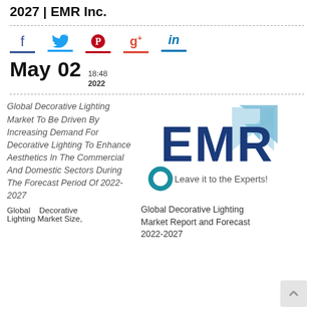2027 | EMR Inc.
[Figure (logo): Social media share icons: Facebook (f), Twitter bird, Pinterest (P), Google+ (g+), LinkedIn (in), each with colored underline bar]
May 02  18:48 2022
Global Decorative Lighting Market To Be Driven By Increasing Demand For Decorative Lighting To Enhance Aesthetics In The Commercial And Domestic Sectors During The Forecast Period Of 2022-2027
[Figure (logo): EMR Inc. logo: large dark blue letters EMR with a light blue upward arrow, circular teal icon, text 'Leave it to the Experts!']
Global Decorative Lighting Market Report and Forecast 2022-2027
Global Decorative Lighting Market Size,